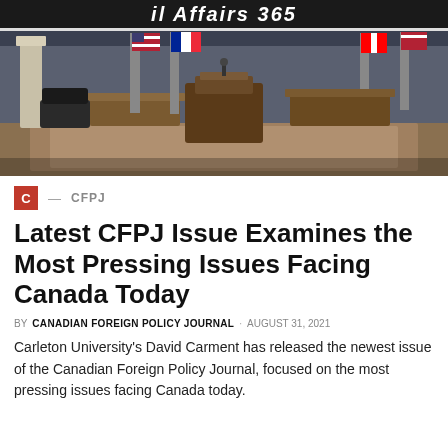il Affairs 365
[Figure (photo): Press conference room with flags of USA, France, Canada, and other nations arranged around a wooden podium/lectern on a rug.]
C — CFPJ
Latest CFPJ Issue Examines the Most Pressing Issues Facing Canada Today
BY CANADIAN FOREIGN POLICY JOURNAL · AUGUST 31, 2021
Carleton University's David Carment has released the newest issue of the Canadian Foreign Policy Journal, focused on the most pressing issues facing Canada today.